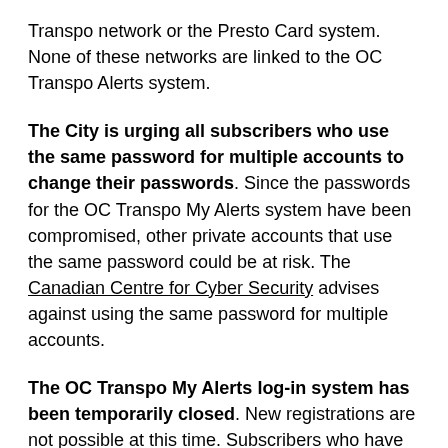Transpo network or the Presto Card system. None of these networks are linked to the OC Transpo Alerts system.
The City is urging all subscribers who use the same password for multiple accounts to change their passwords. Since the passwords for the OC Transpo My Alerts system have been compromised, other private accounts that use the same password could be at risk. The Canadian Centre for Cyber Security advises against using the same password for multiple accounts.
The OC Transpo My Alerts log-in system has been temporarily closed. New registrations are not possible at this time. Subscribers who have any questions should contact the OC Transpo Customer Service Centre at 613-741-4390.
Registrations that are already in for My Alerts will